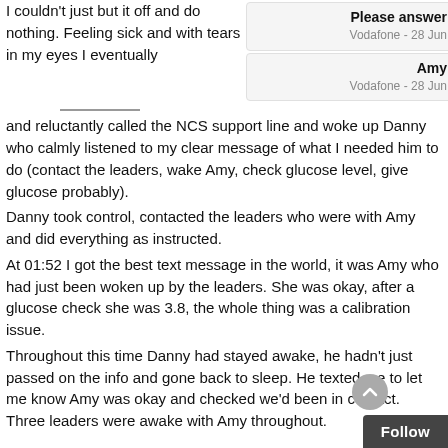I couldn't just but it off and do nothing. Feeling sick and with tears in my eyes I eventually and reluctantly called the NCS support line and woke up Danny who calmly listened to my clear message of what I needed him to do (contact the leaders, wake Amy, check glucose level, give glucose probably).
[Figure (screenshot): Two message notification cards: 'Please answer' from Vodafone - 28 Jun, and 'Amy' from Vodafone - 28 Jun, with thumbnail images on the right.]
Danny took control, contacted the leaders who were with Amy and did everything as instructed.
At 01:52 I got the best text message in the world, it was Amy who had just been woken up by the leaders. She was okay, after a glucose check she was 3.8, the whole thing was a calibration issue.
Throughout this time Danny had stayed awake, he hadn't just passed on the info and gone back to sleep. He texted me to let me know Amy was okay and checked we'd been in contact. Three leaders were awake with Amy throughout.